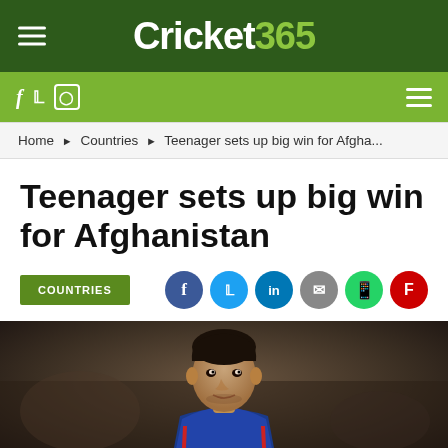Cricket365
Home ▶ Countries ▶ Teenager sets up big win for Afgha...
Teenager sets up big win for Afghanistan
COUNTRIES
[Figure (photo): Photo of a young Afghan cricketer in a blue jersey, looking up, with a blurred stadium background]